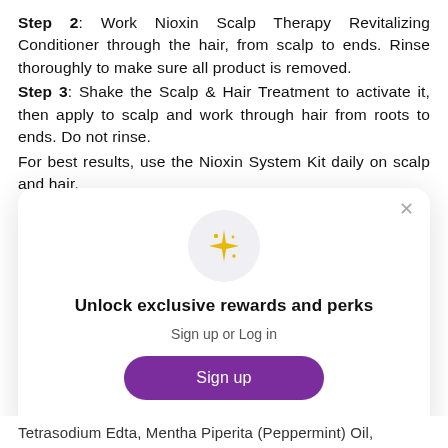Step 2: Work Nioxin Scalp Therapy Revitalizing Conditioner through the hair, from scalp to ends. Rinse thoroughly to make sure all product is removed. Step 3: Shake the Scalp & Hair Treatment to activate it, then apply to scalp and work through hair from roots to ends. Do not rinse. For best results, use the Nioxin System Kit daily on scalp and hair.
[Figure (other): Modal popup with sparkle star icon in a light grey circle, title 'Unlock exclusive rewards and perks', subtitle 'Sign up or Log in', a purple rounded 'Sign up' button, and a link 'Already have an account? Sign in'. A close (x) button appears in the top-right corner of the modal.]
Tetrasodium Edta, Mentha Piperita (Peppermint) Oil,